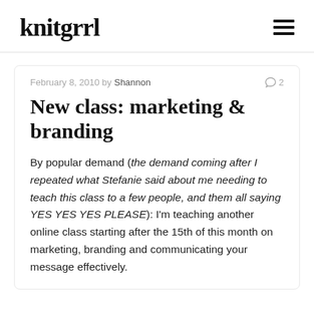knitgrrl
February 8, 2010 by Shannon  2
New class: marketing & branding
By popular demand (the demand coming after I repeated what Stefanie said about me needing to teach this class to a few people, and them all saying YES YES YES PLEASE): I'm teaching another online class starting after the 15th of this month on marketing, branding and communicating your message effectively.